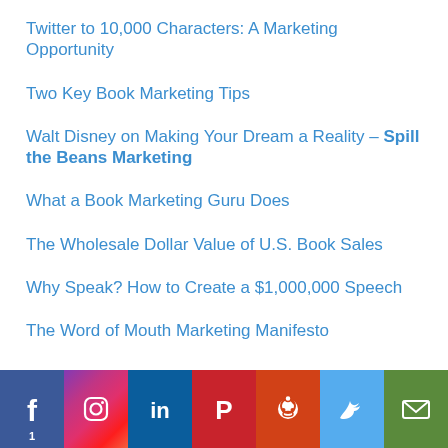Twitter to 10,000 Characters: A Marketing Opportunity
Two Key Book Marketing Tips
Walt Disney on Making Your Dream a Reality – Spill the Beans Marketing
What a Book Marketing Guru Does
The Wholesale Dollar Value of U.S. Book Sales
Why Speak? How to Create a $1,000,000 Speech
The Word of Mouth Marketing Manifesto
[Figure (infographic): Social media share bar with icons for Facebook (with count 1), Instagram, LinkedIn, Pinterest, Reddit, Twitter, and Email]